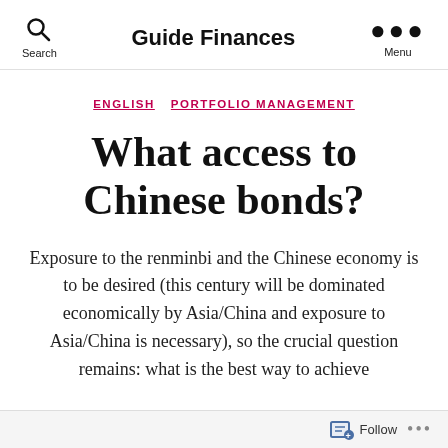Guide Finances
ENGLISH   PORTFOLIO MANAGEMENT
What access to Chinese bonds?
Exposure to the renminbi and the Chinese economy is to be desired (this century will be dominated economically by Asia/China and exposure to Asia/China is necessary), so the crucial question remains: what is the best way to achieve
Follow